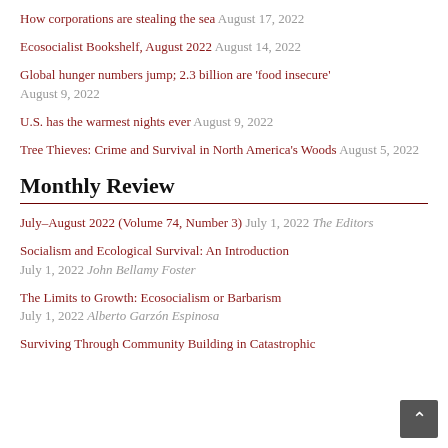How corporations are stealing the sea August 17, 2022
Ecosocialist Bookshelf, August 2022 August 14, 2022
Global hunger numbers jump; 2.3 billion are 'food insecure' August 9, 2022
U.S. has the warmest nights ever August 9, 2022
Tree Thieves: Crime and Survival in North America's Woods August 5, 2022
Monthly Review
July–August 2022 (Volume 74, Number 3) July 1, 2022 The Editors
Socialism and Ecological Survival: An Introduction July 1, 2022 John Bellamy Foster
The Limits to Growth: Ecosocialism or Barbarism July 1, 2022 Alberto Garzón Espinosa
Surviving Through Community Building in Catastrophic